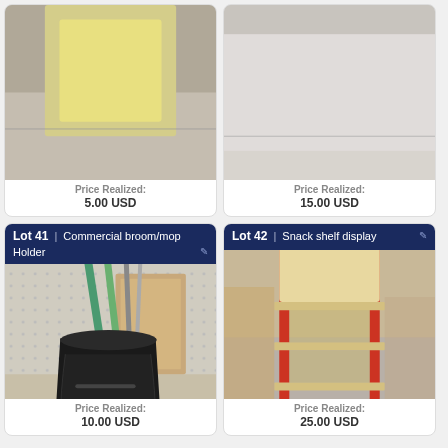[Figure (photo): Partial photo of an item, top portion only]
Price Realized:
5.00 USD
[Figure (photo): Partial photo of an item, top portion only]
Price Realized:
15.00 USD
Lot 41 | Commercial broom/mop Holder
[Figure (photo): Commercial broom/mop holder - black Rubbermaid-style container with brooms/mops inside, on warehouse floor]
Price Realized:
10.00 USD
Lot 42 | Snack shelf display
[Figure (photo): Snack shelf display unit - wooden shelving unit with red metal frame, three shelves, in warehouse]
Price Realized:
25.00 USD